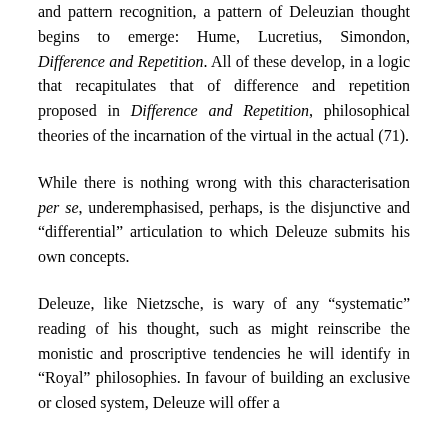and pattern recognition, a pattern of Deleuzian thought begins to emerge: Hume, Lucretius, Simondon, Difference and Repetition. All of these develop, in a logic that recapitulates that of difference and repetition proposed in Difference and Repetition, philosophical theories of the incarnation of the virtual in the actual (71).
While there is nothing wrong with this characterisation per se, underemphasised, perhaps, is the disjunctive and “differential” articulation to which Deleuze submits his own concepts.
Deleuze, like Nietzsche, is wary of any “systematic” reading of his thought, such as might reinscribe the monistic and proscriptive tendencies he will identify in “Royal” philosophies. In favour of building an exclusive or closed system, Deleuze will offer a